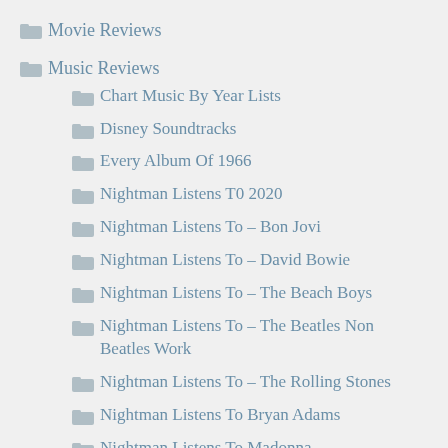Movie Reviews
Music Reviews
Chart Music By Year Lists
Disney Soundtracks
Every Album Of 1966
Nightman Listens T0 2020
Nightman Listens To – Bon Jovi
Nightman Listens To – David Bowie
Nightman Listens To – The Beach Boys
Nightman Listens To – The Beatles Non Beatles Work
Nightman Listens To – The Rolling Stones
Nightman Listens To Bryan Adams
Nightman Listens To Madonna